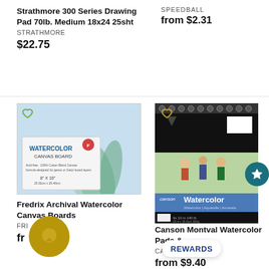Strathmore 300 Series Drawing Pad 70lb. Medium 18x24 25sht
STRATHMORE
$22.75
SPEEDBALL
from $2.31
[Figure (photo): Fredrix Watercolor Canvas Board product image showing white canvas board packaging with teal/blue background and agave plant]
[Figure (photo): Canson Montval Watercolor Pad spiral-bound pad with black cover and watercolor painting scene on front]
Fredrix Archival Watercolor Canvas Boards
FRIE
from $  52
Canson Montval Watercolor Pads &
CANSO
from $9.40